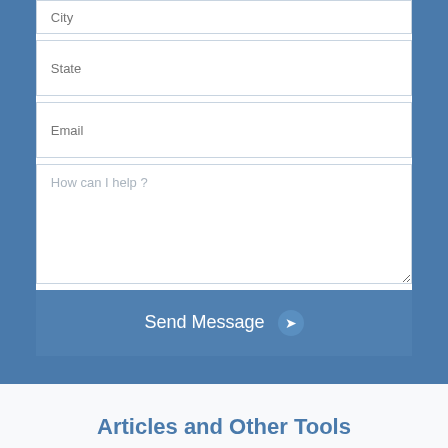[Figure (screenshot): Web contact form with fields: City (partially visible), State, Email, How can I help? textarea, and a Send Message button with arrow icon, on a blue background]
Articles and Other Tools
[Figure (photo): Partial bottom image bar, appears to be a photo cropped at bottom of page]